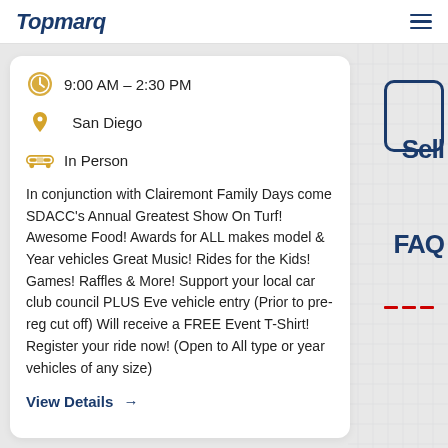Topmarq
9:00 AM – 2:30 PM
San Diego
In Person
In conjunction with Clairemont Family Days come SDACC's Annual Greatest Show On Turf! Awesome Food! Awards for ALL makes model & Year vehicles Great Music! Rides for the Kids! Games! Raffles & More! Support your local car club council PLUS Eve vehicle entry (Prior to pre-reg cut off) Will receive a FREE Event T-Shirt! Register your ride now! (Open to All type or year vehicles of any size)
View Details →